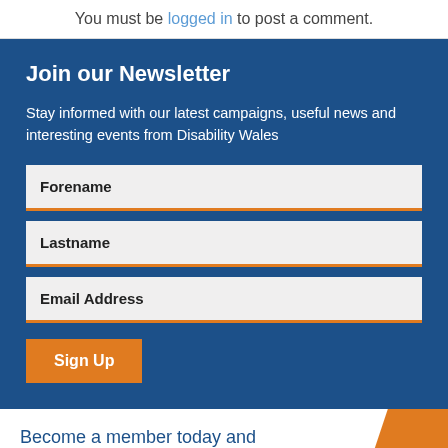You must be logged in to post a comment.
Join our Newsletter
Stay informed with our latest campaigns, useful news and interesting events from Disability Wales
Forename
Lastname
Email Address
Sign Up
Become a member today and